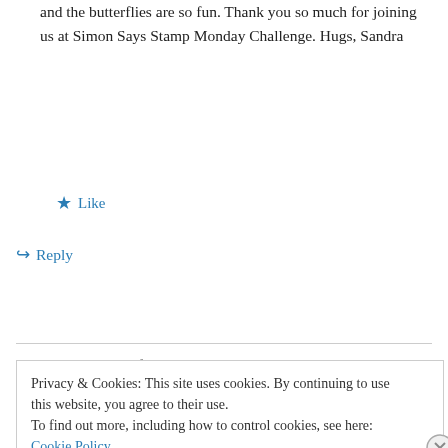and the butterflies are so fun. Thank you so much for joining us at Simon Says Stamp Monday Challenge. Hugs, Sandra
★ Like
↪ Reply
And let the beauty of the Lord our God be upon us, And establish the work of our hands for us; Yes, establish the work of our hands. Psalm 90:17
Privacy & Cookies: This site uses cookies. By continuing to use this website, you agree to their use.
To find out more, including how to control cookies, see here: Cookie Policy
Close and accept